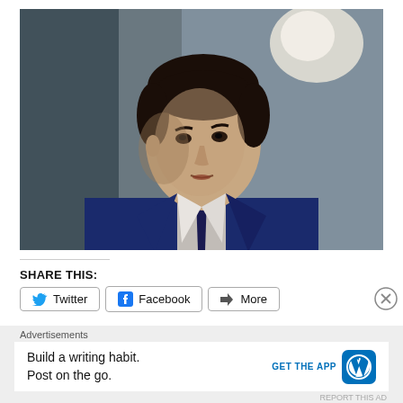[Figure (photo): Portrait photo of a young man in a dark navy suit and tie, with dark hair, looking slightly to the right, photographed in an indoor setting with blurred background including a light and blue-grey walls.]
SHARE THIS:
Twitter  Facebook  More
Advertisements
Build a writing habit.
Post on the go.
GET THE APP
REPORT THIS AD